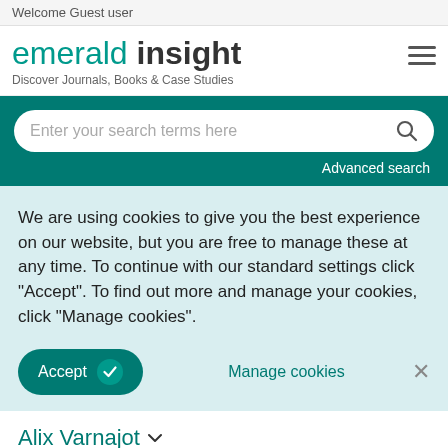Welcome Guest user
[Figure (logo): Emerald Insight logo with tagline 'Discover Journals, Books & Case Studies']
Enter your search terms here
Advanced search
We are using cookies to give you the best experience on our website, but you are free to manage these at any time. To continue with our standard settings click "Accept". To find out more and manage your cookies, click "Manage cookies".
Accept
Manage cookies
Alix Varnajot